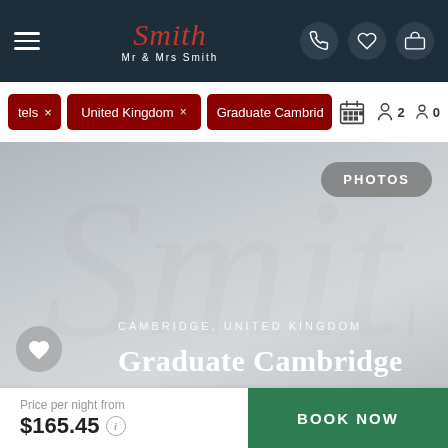Mr & Mrs Smith — Navigation bar with logo, hamburger menu, and icons
tels × | United Kingdom × | Graduate Cambrid | [calendar] 2 adults 0 children
[Figure (screenshot): Hero hotel image for Graduate Cambridge with watermark logo, PHOTOS button, heart icon, location text CAMBRIDGE, UNITED KINGDOM, and hotel name Graduate Cambridge overlaid on a grey gradient background]
Price per night from $165.45
BOOK NOW